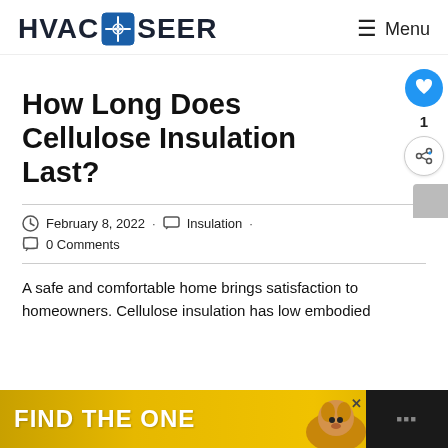HVACSEER  ≡ Menu
How Long Does Cellulose Insulation Last?
February 8, 2022 · Insulation · 0 Comments
A safe and comfortable home brings satisfaction to homeowners. Cellulose insulation has low embodied
[Figure (other): Advertisement banner: FIND THE ONE with a dog image, on yellow/gold background]